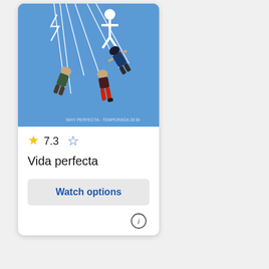[Figure (photo): Movie poster for 'Vida perfecta' showing people on swings against a blue sky background with a white illustrated figure at the top]
★ 7.3   ☆
Vida perfecta
Watch options
[Figure (other): Info icon (circle with letter i)]